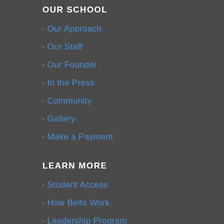OUR SCHOOL
Our Approach
Our Staff
Our Founder
In the Press
Community
Gallery
Make a Payment
LEARN MORE
Student Access
How Belts Work
Leadership Program
Facility Emergency Plan
Class Schedule